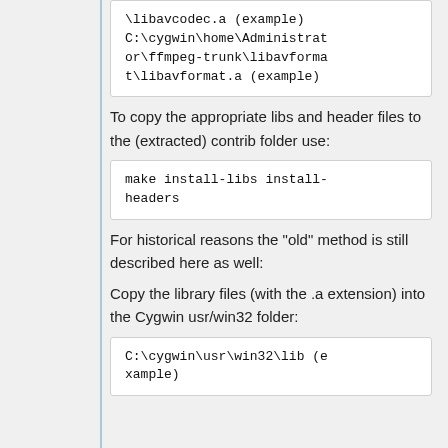\libavcodec.a (example) C:\cygwin\home\Administrator\ffmpeg-trunk\libavformat\libavformat.a (example)
To copy the appropriate libs and header files to the (extracted) contrib folder use:
make install-libs install-headers
For historical reasons the "old" method is still described here as well:
Copy the library files (with the .a extension) into the Cygwin usr/win32 folder:
C:\cygwin\usr\win32\lib (example)